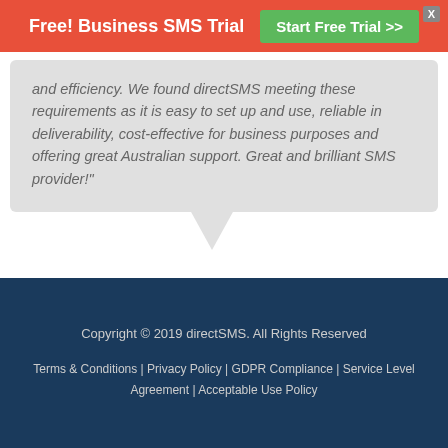Free! Business SMS Trial  Start Free Trial >>
and efficiency. We found directSMS meeting these requirements as it is easy to set up and use, reliable in deliverability, cost-effective for business purposes and offering great Australian support. Great and brilliant SMS provider!"
Elmin Selay
[Figure (logo): Tickets.com logo — black background with white bold TICKETS text and red dot before .com]
Copyright © 2019 directSMS. All Rights Reserved
Terms & Conditions | Privacy Policy | GDPR Compliance | Service Level Agreement | Acceptable Use Policy